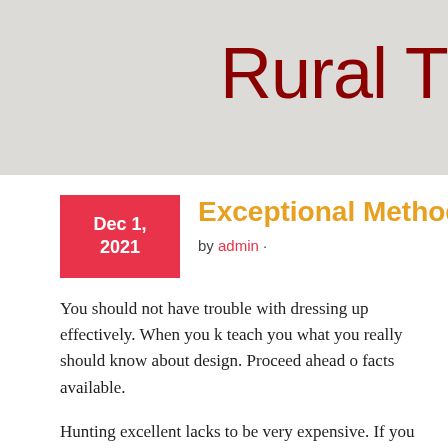Rural Tra
Exceptional Method To Obta
by admin ·
You should not have trouble with dressing up effectively. When you k teach you what you really should know about design. Proceed ahead o facts available.
Hunting excellent lacks to be very expensive. If you wish to build you take a look at the local thrift and consignment shops. These stores offe
When you start to get grayer, along with your your hair is virtually fif out, even though, meaning that every month you will quickly visit yo would be to put in highlights close to your part plus your temples.